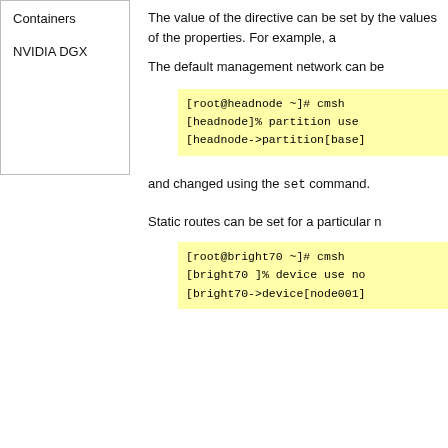Containers
NVIDIA DGX
The value of the directive can be set by values of the properties. For example, a
The default management network can be
[Figure (screenshot): Code block showing: [root@headnode ~]# cmsh
[headnode]% partition use
[headnode->partition[base]]
and changed using the set command.
Static routes can be set for a particular n
[Figure (screenshot): Code block showing: [root@bright70 ~]# cmsh
[bright70 ]% device use no
[bright70->device[node001]]